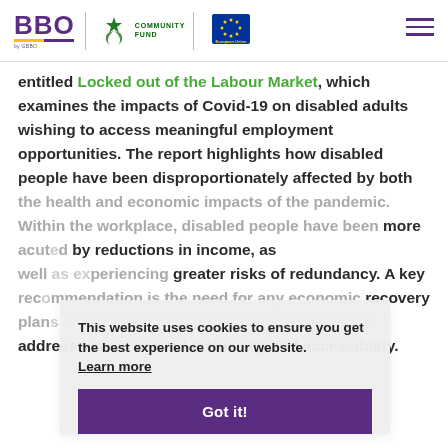BBO | Community Fund | European Union
entitled Locked out of the Labour Market, which examines the impacts of Covid-19 on disabled adults wishing to access meaningful employment opportunities. The report highlights how disabled people have been disproportionately affected by both the health and economic impacts of the pandemic. Within the workplace, disabled people have been more acutely affected by reductions in income, as well as experiencing greater risks of redundancy. A key recommendation is the need for any economic recovery plans developed by the government to explicitly address issues around inclusivity and accessibility.
This website uses cookies to ensure you get the best experience on our website. Learn more
Got it!